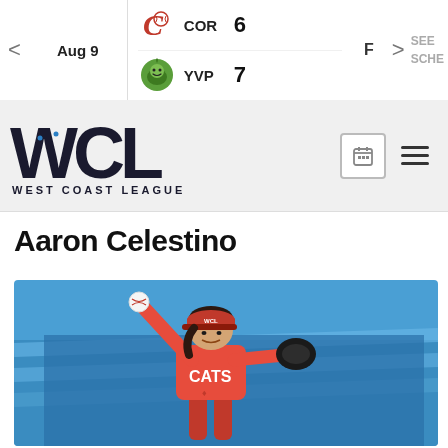Aug 9  COR 6  YVP 7  F
[Figure (logo): West Coast League (WCL) logo with stylized text and baseball graphic]
Aaron Celestino
[Figure (photo): Baseball pitcher Aaron Celestino wearing a red CATS jersey with a maple leaf, mid-windup on a blue stadium background]